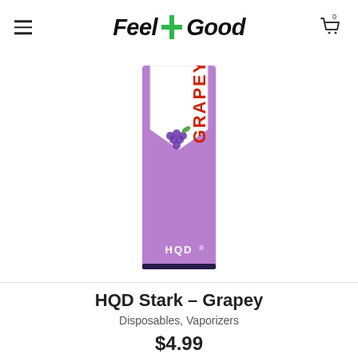Feel + Good — navigation header with menu icon and cart (0 items)
[Figure (photo): HQD Stark Grapey disposable vaporizer product — tall purple packaging with 'GRAPEY' text in orange/red and HQD logo at bottom]
HQD Stark – Grapey
Disposables, Vaporizers
$4.99